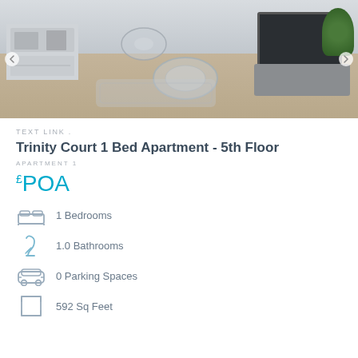[Figure (photo): Interior photo of a modern apartment living room with open-plan kitchen, glass coffee table, TV unit, and decorative plant]
TEXT LINK .
Trinity Court 1 Bed Apartment - 5th Floor
APARTMENT 1
£POA
1 Bedrooms
1.0 Bathrooms
0 Parking Spaces
592 Sq Feet